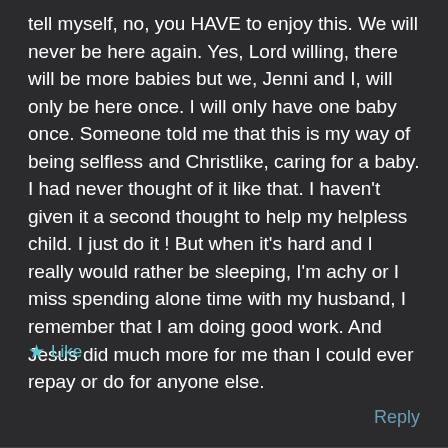tell myself, no, you HAVE to enjoy this. We will never be here again. Yes, Lord willing, there will be more babies but we, Jenni and I, will only be here once. I will only have one baby once. Someone told me that this is my way of being selfless and Christlike, caring for a baby. I had never thought of it like that. I haven't given it a second thought to help my helpless child. I just do it ! But when it's hard and I really would rather be sleeping, I'm achy or I miss spending alone time with my husband, I remember that I am doing good work. And Jesus did much more for me than I could ever repay or do for anyone else.
★ Like
Reply